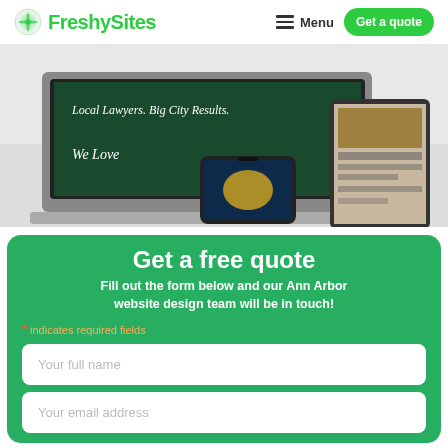FreshySites — Menu — Get a quote
[Figure (photo): Photo of laptop, tablet, and smartphone showing website designs on desks]
Get a free quote
Fill out the form below and our Ann Arbor website design team will be in touch!
* indicates required fields
Your full name
Your email address